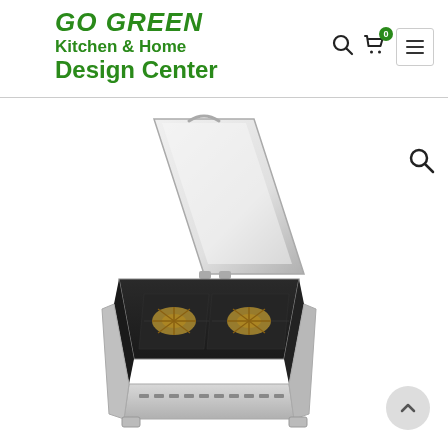GO GREEN Kitchen & Home Design Center
[Figure (photo): A stainless steel outdoor drop-in gas grill/cooktop with two burners, lid open, shown from an angle. The lid is propped open revealing brass burners inside a dark cook box. The unit has ventilation slots on the front panel.]